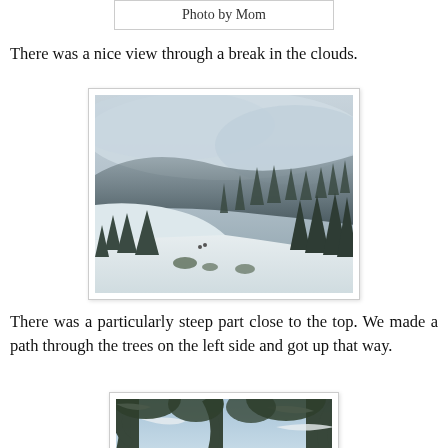Photo by Mom
There was a nice view through a break in the clouds.
[Figure (photo): A snowy mountain slope with evergreen trees in the foreground and misty clouds obscuring the mountain peaks in the background.]
There was a particularly steep part close to the top.  We made a path through the trees on the left side and got up that way.
[Figure (photo): Looking up through snow-covered evergreen tree branches toward a blue sky, showing the forest canopy from below.]